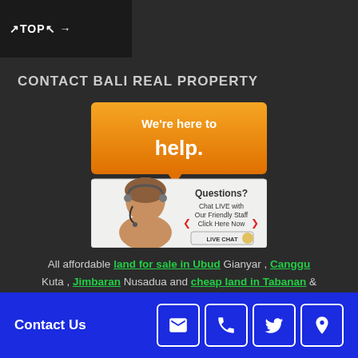↗TOP↖ →
CONTACT BALI REAL PROPERTY
[Figure (illustration): Customer service chat widget showing orange banner 'We're here to help.' with a woman wearing a headset and text 'Questions? Chat LIVE with Our Friendly Staff Click Here Now' and a LIVE CHAT button]
All affordable land for sale in Ubud Gianyar , Canggu Kuta , Jimbaran Nusadua and cheap land in Tabanan & Bedugul listed in landforsaleinbali.com is exclusively offered by Bali Real Property, a registered Real Estate
Contact Us [email] [phone] [twitter] [location]